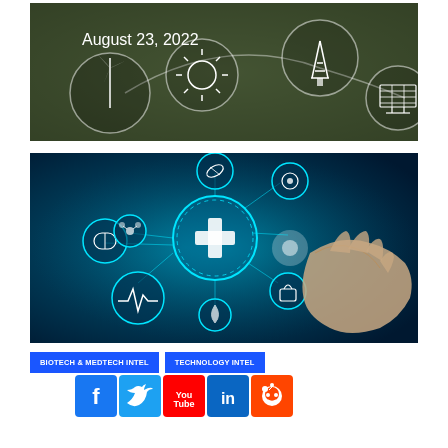[Figure (illustration): Dark green/brown background with circular energy icons (wind turbine, sun, oil derrick, solar panel) connected by lines. Text overlay reads 'August 23, 2022' in white.]
[Figure (photo): Blue-toned photo of a hand touching a glowing digital medical interface with healthcare icons (pill, cross, heartbeat, molecule) in glowing circles connected by lines.]
BIOTECH & MEDTECH INTEL
TECHNOLOGY INTEL
[Figure (illustration): Social media icons: Facebook (blue), Twitter (light blue), YouTube (red), LinkedIn (blue), Reddit (orange-red)]